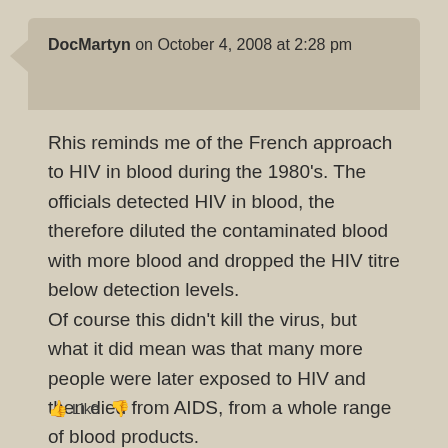DocMartyn on October 4, 2008 at 2:28 pm
Rhis reminds me of the French approach to HIV in blood during the 1980’s. The officials detected HIV in blood, the therefore diluted the contaminated blood with more blood and dropped the HIV titre below detection levels.
Of course this didn’t kill the virus, but what it did mean was that many more people were later exposed to HIV and then died from AIDS, from a whole range of blood products.
Like